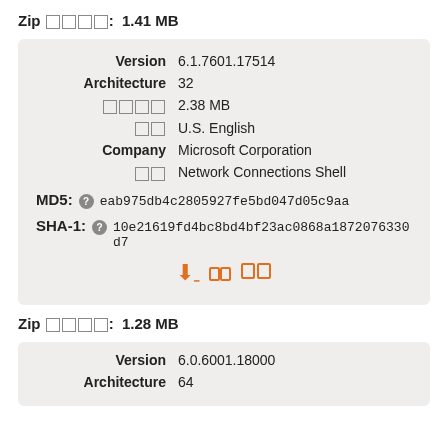Zip □□□□: 1.41 MB
| Version | 6.1.7601.17514 |
| Architecture | 32 |
| □□□□ | 2.38 MB |
| □□ | U.S. English |
| Company | Microsoft Corporation |
| □□ | Network Connections Shell |
| MD5: | eab975db4c2805927fe5bd047d05c9aa |
| SHA-1: | 10e21619fd4bc8bd4bf23ac0868a1872076330d7 |
Zip □□□□: 1.28 MB
| Version | 6.0.6001.18000 |
| Architecture | 64 |